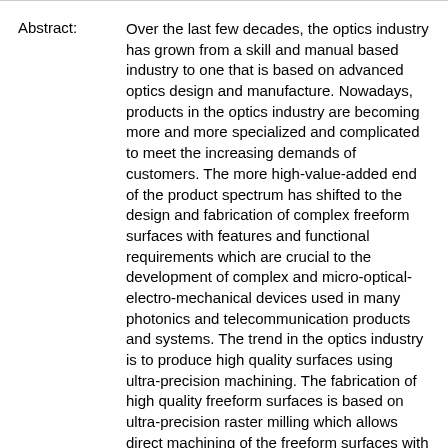Abstract: Over the last few decades, the optics industry has grown from a skill and manual based industry to one that is based on advanced optics design and manufacture. Nowadays, products in the optics industry are becoming more and more specialized and complicated to meet the increasing demands of customers. The more high-value-added end of the product spectrum has shifted to the design and fabrication of complex freeform surfaces with features and functional requirements which are crucial to the development of complex and micro-optical-electro-mechanical devices used in many photonics and telecommunication products and systems. The trend in the optics industry is to produce high quality surfaces using ultra-precision machining. The fabrication of high quality freeform surfaces is based on ultra-precision raster milling which allows direct machining of the freeform surfaces with sub-micrometric form accuracy and nanometric surface finish. Ultra-precision raster milling is an emerging manufacturing technology for the fabrication of high precision and high